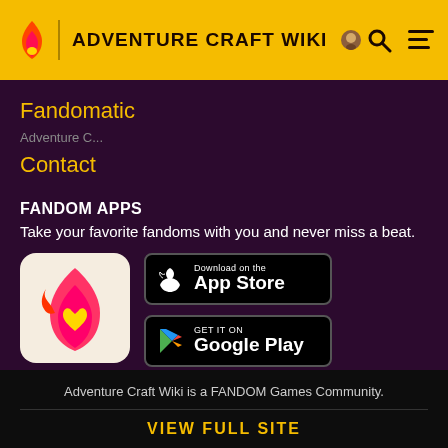ADVENTURE CRAFT WIKI
Fandomatic
Contact
FANDOM APPS
Take your favorite fandoms with you and never miss a beat.
[Figure (logo): Fandom app icon: red/pink flame with yellow heart on cream background]
[Figure (screenshot): Download on the App Store button (black, Apple logo)]
[Figure (screenshot): GET IT ON Google Play button (black, Google Play logo)]
Adventure Craft Wiki is a FANDOM Games Community.
VIEW FULL SITE